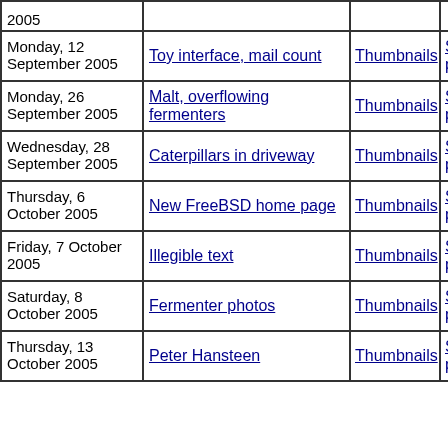| Date | Title | Thumbnails | Small photos | diary |
| --- | --- | --- | --- | --- |
| 2005 (partial) |  |  |  |  |
| Monday, 12 September 2005 | Toy interface, mail count | Thumbnails | Small photos | diary |
| Monday, 26 September 2005 | Malt, overflowing fermenters | Thumbnails | Small photos | diary |
| Wednesday, 28 September 2005 | Caterpillars in driveway | Thumbnails | Small photos | diary |
| Thursday, 6 October 2005 | New FreeBSD home page | Thumbnails | Small photos | diary |
| Friday, 7 October 2005 | Illegible text | Thumbnails | Small photos | diary |
| Saturday, 8 October 2005 | Fermenter photos | Thumbnails | Small photos | diary |
| Thursday, 13 October 2005 | Peter Hansteen | Thumbnails | Small photos | diary |